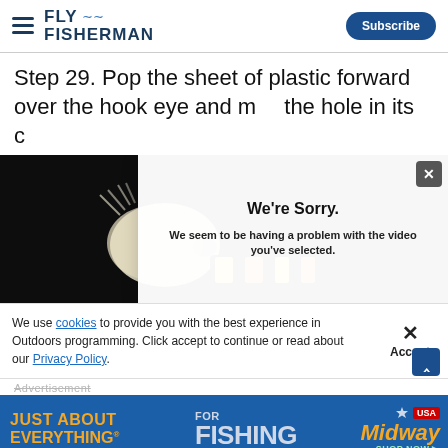FLY FISHERMAN
Step 29. Pop the sheet of plastic forward over the hook eye and m… the hole in its c…
[Figure (photo): Close-up photo of a fly fishing lure/fly on dark background, showing white/cream feathery material and yellow/orange striped threads. A modal dialog overlays part of the image with the message: 'We're Sorry. We seem to be having a problem with the video you've selected.']
We use cookies to provide you with the best experience in Outdoors programming. Click accept to continue or read about our Privacy Policy.
[Figure (other): Advertisement banner: JUST ABOUT EVERYTHING FOR FISHING - MidwayUSA SHOP NOW]